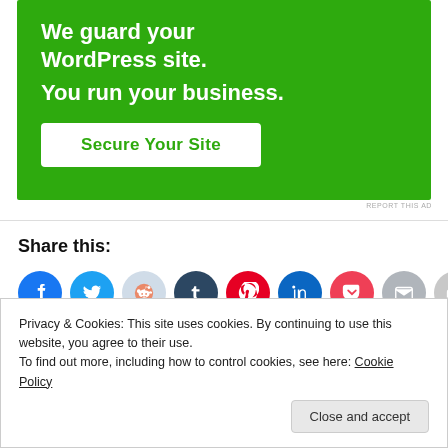[Figure (infographic): Green advertisement banner for a WordPress security service. Text reads 'We guard your WordPress site. You run your business.' with a 'Secure Your Site' button.]
REPORT THIS AD
Share this:
[Figure (infographic): Row of social media share icon buttons: Facebook, Twitter, Reddit, Tumblr, Pinterest, LinkedIn, Pocket, Email, Print]
Privacy & Cookies: This site uses cookies. By continuing to use this website, you agree to their use.
To find out more, including how to control cookies, see here: Cookie Policy
Close and accept